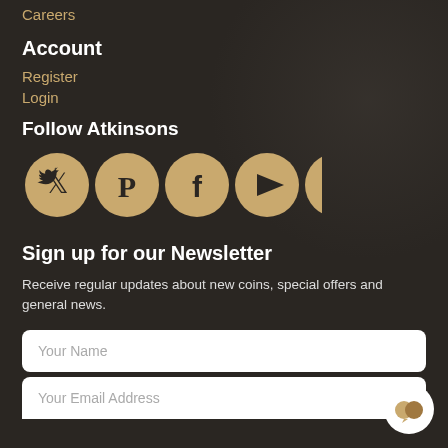Careers
Account
Register
Login
Follow Atkinsons
[Figure (infographic): Five social media icons in gold circles: Twitter, Pinterest, Facebook, YouTube, Instagram]
Sign up for our Newsletter
Receive regular updates about new coins, special offers and general news.
Your Name
Your Email Address